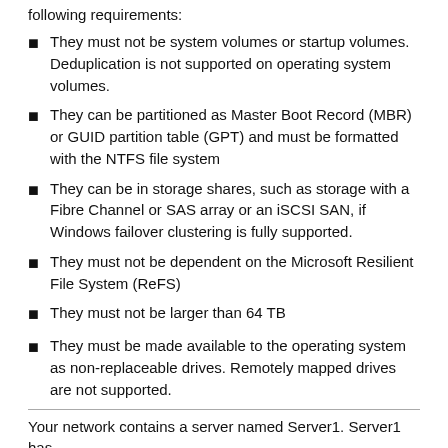following requirements:
They must not be system volumes or startup volumes. Deduplication is not supported on operating system volumes.
They can be partitioned as Master Boot Record (MBR) or GUID partition table (GPT) and must be formatted with the NTFS file system
They can be in storage shares, such as storage with a Fibre Channel or SAS array or an iSCSI SAN, if Windows failover clustering is fully supported.
They must not be dependent on the Microsoft Resilient File System (ReFS)
They must not be larger than 64 TB
They must be made available to the operating system as non-replaceable drives. Remotely mapped drives are not supported.
Your network contains a server named Server1. Server1 has